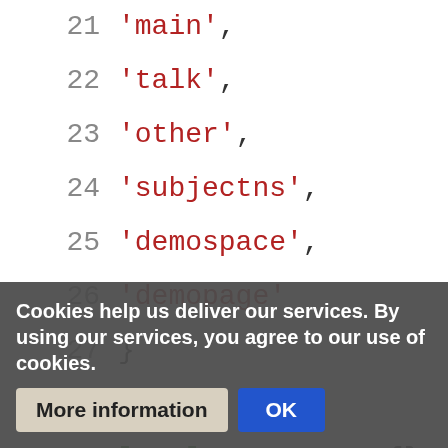[Figure (screenshot): Code snippet showing Lua script with line numbers 20-34. Lines 21-26 show string array entries ('main', 'talk', 'other', 'subjectns', 'demospace', 'demopage'). Line 27 closes the table. Line 29 declares local argKeys = {}. Line 30 begins a for loop: for i, defaultKey in ipairs(defaultKeys) do. Line 31 shows argKeys[defaultKey] = {defaultKey}. Lines 33-34 are partially visible behind a cookie consent banner.]
Cookies help us deliver our services. By using our services, you agree to our use of cookies.
More information
OK